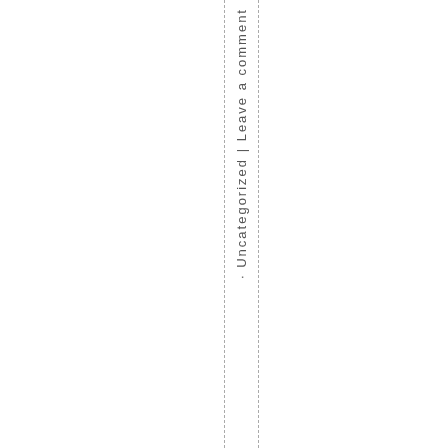· Uncategorized | Leave a comment